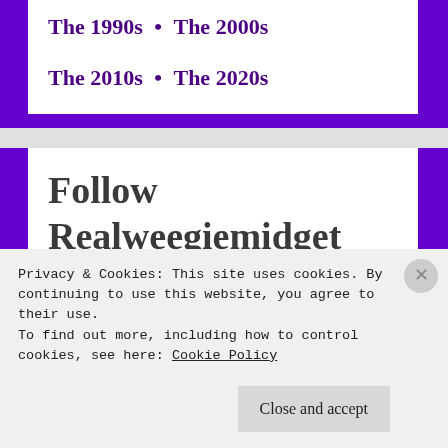The 1990s • The 2000s
The 2010s • The 2020s
Follow Realweegiemidget Reviews on Social Media
Privacy & Cookies: This site uses cookies. By continuing to use this website, you agree to their use.
To find out more, including how to control cookies, see here: Cookie Policy
Close and accept